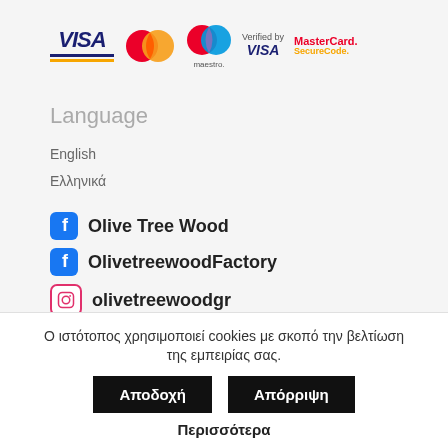[Figure (logo): Payment method logos: VISA, Mastercard, Maestro, Verified by VISA, MasterCard SecureCode]
Language
English
Ελληνικά
Olive Tree Wood (Facebook)
OlivetreewoodFactory (Facebook)
olivetreewoodgr (Instagram)
Ο ιστότοπος χρησιμοποιεί cookies με σκοπό την βελτίωση της εμπειρίας σας.
Αποδοχή   Απόρριψη
Περισσότερα